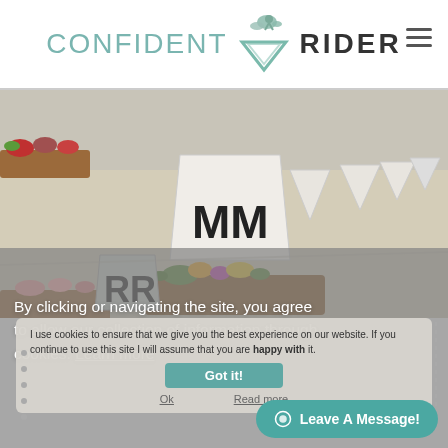[Figure (logo): Confident Rider logo with horse and rider icon, teal text for CONFIDENT and dark text for RIDER]
[Figure (photo): Dressage arena photo showing white cone/pyramid markers with letter M M, flower planters, and white arena markers in background on sandy surface]
By clicking or navigating the site, you agree to allow our collection of information through cookies. Learn more
I use cookies to ensure that we give you the best experience on our website. If you continue to use this site I will assume that you are happy with it.
Got it!
Ok   Read more
Leave A Message!